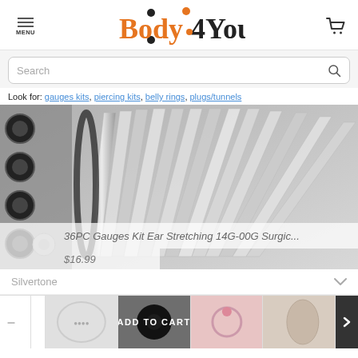MENU | Body4You | [cart icon]
[Figure (screenshot): Search bar with placeholder text 'Search' and a magnifying glass icon on the right, inside a rounded rectangle on a light gray background]
Look for: gauges kits, piercing kits, belly rings, plugs/tunnels
[Figure (photo): Product photo of a 36PC Gauges Kit Ear Stretching set with silver tapers and black plugs arranged in a fan pattern. Overlay text: '36PC Gauges Kit Ear Stretching 14G-00G Surgic...' and price '$16.99']
Silvertone
[Figure (screenshot): Thumbnail strip showing product images and an ADD TO CART button overlay, with navigation arrows]